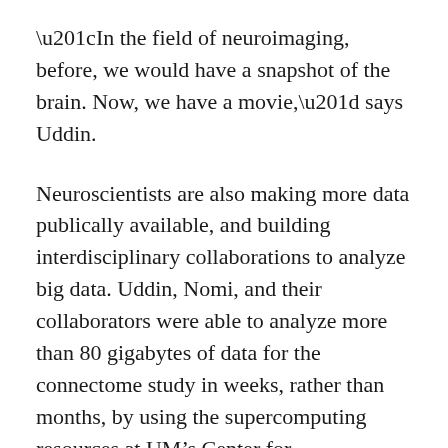“In the field of neuroimaging, before, we would have a snapshot of the brain. Now, we have a movie,” says Uddin.
Neuroscientists are also making more data publically available, and building interdisciplinary collaborations to analyze big data. Uddin, Nomi, and their collaborators were able to analyze more than 80 gigabytes of data for the connectome study in weeks, rather than months, by using the supercomputing resources at UM’s Center for Computational Science (CCS).
For the follow up study on children with autism, Uddin and Nomi have been working closely with UM’s